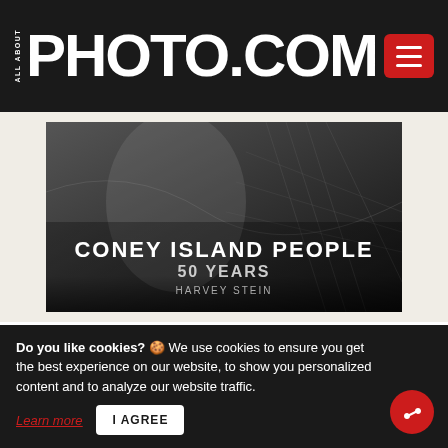ALL ABOUT PHOTO.COM
[Figure (photo): Book cover of 'Coney Island People: 50 Years' by Harvey Stein — black and white photograph showing people on a beach/boardwalk with text overlay]
CONEY ISLAND PEOPLE: 50 YEARS, 1970-2020
Harvey Stein
MORE INFO | AVAILABLE ON Amazon
Do you like cookies? 🍪 We use cookies to ensure you get the best experience on our website, to show you personalized content and to analyze our website traffic.
Learn more | I AGREE